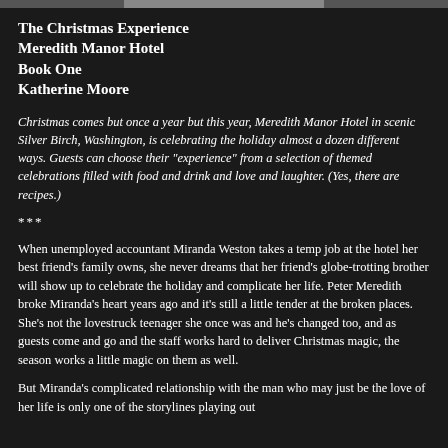The Christmas Experience
Meredith Manor Hotel
Book One
Katherine Moore
Christmas comes but once a year but this year, Meredith Manor Hotel in scenic Silver Birch, Washington, is celebrating the holiday almost a dozen different ways. Guests can choose their "experience" from a selection of themed celebrations filled with food and drink and love and laughter. (Yes, there are recipes.)
***
When unemployed accountant Miranda Weston takes a temp job at the hotel her best friend's family owns, she never dreams that her friend's globe-trotting brother will show up to celebrate the holiday and complicate her life. Peter Meredith broke Miranda's heart years ago and it's still a little tender at the broken places. She's not the lovestruck teenager she once was and he's changed too, and as guests come and go and the staff works hard to deliver Christmas magic, the season works a little magic on them as well.
But Miranda's complicated relationship with the man who may just be the love of her life is only one of the storylines playing out